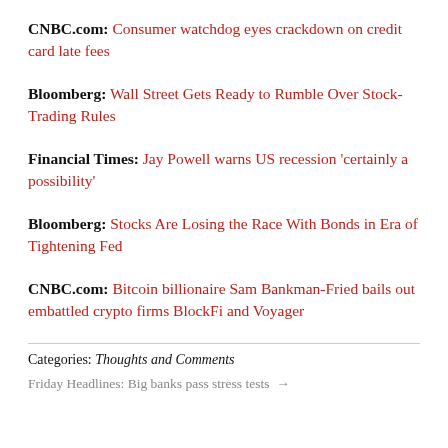CNBC.com: Consumer watchdog eyes crackdown on credit card late fees
Bloomberg: Wall Street Gets Ready to Rumble Over Stock-Trading Rules
Financial Times: Jay Powell warns US recession 'certainly a possibility'
Bloomberg: Stocks Are Losing the Race With Bonds in Era of Tightening Fed
CNBC.com: Bitcoin billionaire Sam Bankman-Fried bails out embattled crypto firms BlockFi and Voyager
Categories: Thoughts and Comments
Friday Headlines: Big banks pass stress tests →